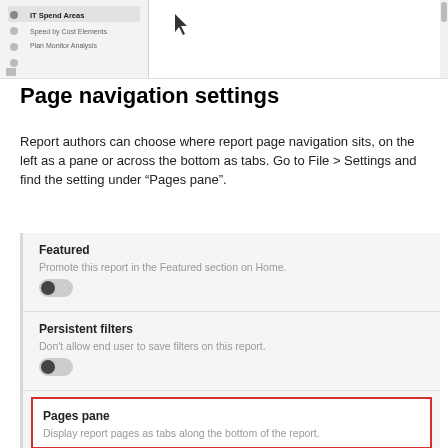[Figure (screenshot): A screenshot showing a report navigation sidebar with items including 'IT Spend Areas', 'Speed by Cost Elements', and 'Plan Monitor Analysis', with a cursor arrow visible in the main content area.]
Page navigation settings
Report authors can choose where report page navigation sits, on the left as a pane or across the bottom as tabs. Go to File > Settings and find the setting under “Pages pane”.
[Figure (screenshot): A settings panel showing 'Featured' section with toggle and description 'Promote this report in the Featured section on Home.', 'Persistent filters' section with toggle and description 'Don’t allow end user to save filters on this report.', and 'Pages pane' section highlighted with red border and description 'Display report pages as tabs along the bottom of the report.']